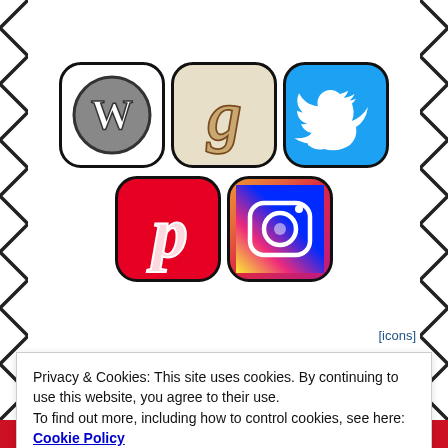[Figure (illustration): Five social media app icons arranged in two rows: WordPress, Goodreads, Twitter (top row); Pinterest, Instagram (bottom row). Decorative zigzag border on left and right sides.]
[icons]
Privacy & Cookies: This site uses cookies. By continuing to use this website, you agree to their use.
To find out more, including how to control cookies, see here: Cookie Policy
Close and accept